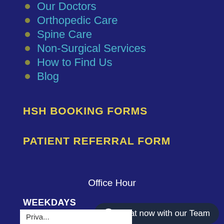Our Doctors
Orthopedic Care
Spine Care
Non-Surgical Services
How to Find Us
Blog
HSH BOOKING FORMS
PATIENT REFERRAL FORM
Office Hour
WEEKDAYS
WEEKENDS
Chat now with our Team
Priva...